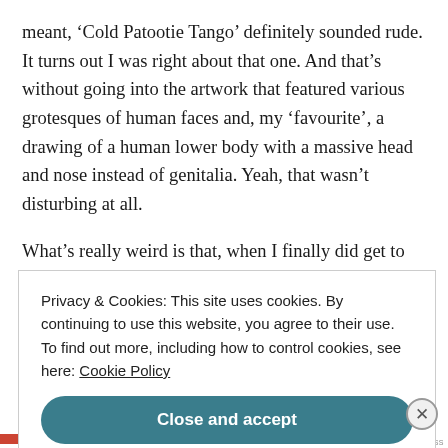meant, 'Cold Patootie Tango' definitely sounded rude. It turns out I was right about that one. And that's without going into the artwork that featured various grotesques of human faces and, my 'favourite', a drawing of a human lower body with a massive head and nose instead of genitalia. Yeah, that wasn't disturbing at all.
What's really weird is that, when I finally did get to listen to the album, I liked it far less than I ended up
Privacy & Cookies: This site uses cookies. By continuing to use this website, you agree to their use.
To find out more, including how to control cookies, see here: Cookie Policy
Close and accept